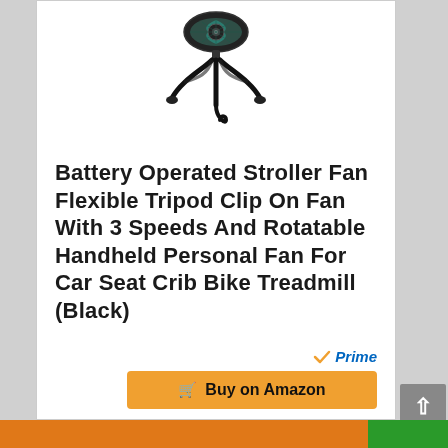[Figure (photo): Battery operated stroller fan with flexible tripod legs and clip, shown on white background]
Battery Operated Stroller Fan Flexible Tripod Clip On Fan With 3 Speeds And Rotatable Handheld Personal Fan For Car Seat Crib Bike Treadmill (Black)
[Figure (logo): Amazon Prime logo with orange checkmark and blue italic 'Prime' text]
[Figure (other): Buy on Amazon button with shopping cart icon, orange background]